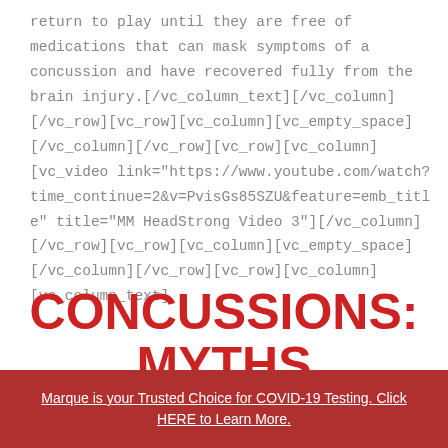return to play until they are free of medications that can mask symptoms of a concussion and have recovered fully from the brain injury.[/vc_column_text][/vc_column][/vc_row][vc_row][vc_column][vc_empty_space][/vc_column][/vc_row][vc_row][vc_column][vc_video link="https://www.youtube.com/watch?time_continue=2&v=PvisGs85SZU&feature=emb_title" title="MM HeadStrong Video 3"][/vc_column][/vc_row][vc_row][vc_column][vc_empty_space][/vc_column][/vc_row][vc_row][vc_column][vc_column_text]
CONCUSSIONS: MYTHS and FACTS
Marque is your Trusted Choice for COVID-19 Testing. Click HERE to Learn More.